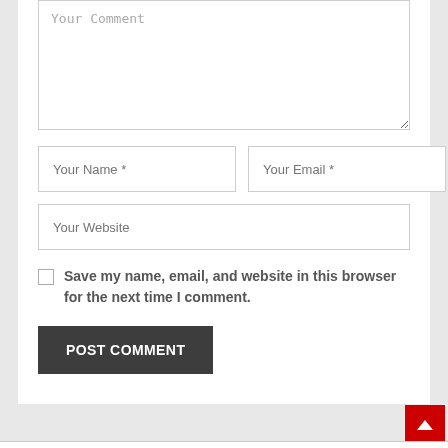Your Comment
Your Name *
Your Email *
Your Website
Save my name, email, and website in this browser for the next time I comment.
POST COMMENT